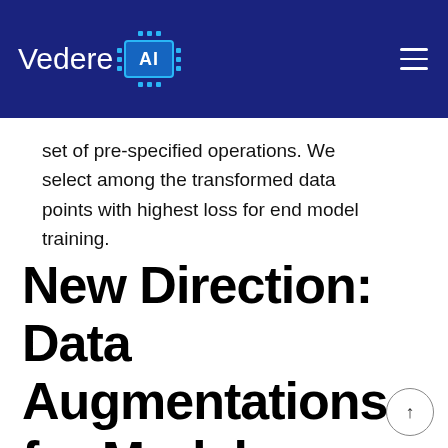[Figure (logo): Vedere AI logo — white text 'Vedere' with a stylized blue chip icon containing 'AI' on a dark navy blue header bar with a hamburger menu icon on the right]
set of pre-specified operations. We select among the transformed data points with highest loss for end model training.
New Direction: Data Augmentations for Model Patching
Most machine learning research carried out today is still solving fixed tasks. However, in the